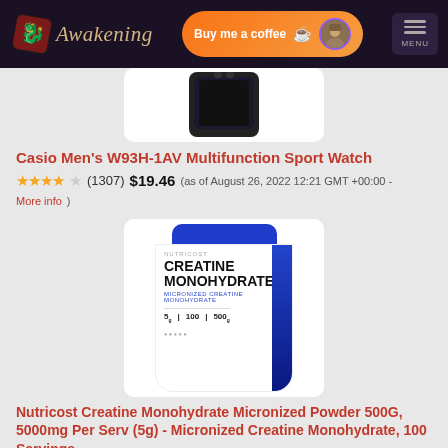Awakening — Buy me a coffee — MENU
[Figure (photo): Partial view of a Casio Men's W93H-1AV Multifunction Sport Watch product image on white background]
Casio Men's W93H-1AV Multifunction Sport Watch
★★★★☆ (1307)  $19.46  (as of August 26, 2022 12:21 GMT +00:00 - More info)
[Figure (photo): Nutricost Creatine Monohydrate Micronized Powder product container — white tub with blue lid, showing CREATINE MONOHYDRATE label, 5g per serving, 100 servings, 500g]
Nutricost Creatine Monohydrate Micronized Powder 500G, 5000mg Per Serv (5g) - Micronized Creatine Monohydrate, 100 Servings